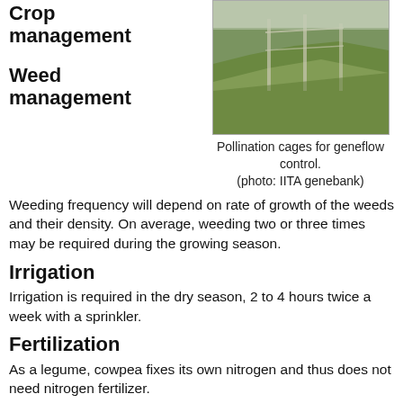Crop management
[Figure (photo): Photo of pollination cages in a field for geneflow control, showing green grass/plants along a hillside or raised earthen structure.]
Pollination cages for geneflow control. (photo: IITA genebank)
Weed management
Weeding frequency will depend on rate of growth of the weeds and their density. On average, weeding two or three times may be required during the growing season.
Irrigation
Irrigation is required in the dry season, 2 to 4 hours twice a week with a sprinkler.
Fertilization
As a legume, cowpea fixes its own nitrogen and thus does not need nitrogen fertilizer.
Apply phosphate fertilizer: single super phosphate (SSP) at 60 kg/ha or triple super phosphate (TSP) at 25 kg/ha